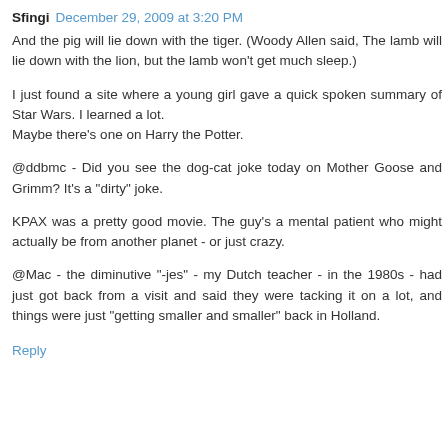Sfingi  December 29, 2009 at 3:20 PM
And the pig will lie down with the tiger. (Woody Allen said, The lamb will lie down with the lion, but the lamb won't get much sleep.)
I just found a site where a young girl gave a quick spoken summary of Star Wars. I learned a lot.
Maybe there's one on Harry the Potter.
@ddbmc - Did you see the dog-cat joke today on Mother Goose and Grimm? It's a "dirty" joke.
KPAX was a pretty good movie. The guy's a mental patient who might actually be from another planet - or just crazy.
@Mac - the diminutive "-jes" - my Dutch teacher - in the 1980s - had just got back from a visit and said they were tacking it on a lot, and things were just "getting smaller and smaller" back in Holland.
Reply